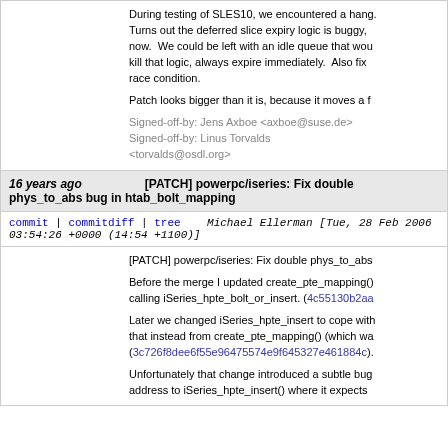During testing of SLES10, we encountered a hang. Turns out the deferred slice expiry logic is buggy, now. We could be left with an idle queue that would kill that logic, always expire immediately. Also fix a race condition.

Patch looks bigger than it is, because it moves a f
Signed-off-by: Jens Axboe <axboe@suse.de>
Signed-off-by: Linus Torvalds <torvalds@osdl.org>
16 years ago   [PATCH] powerpc/iseries: Fix double phys_to_abs bug in htab_bolt_mapping
commit | commitdiff | tree   Michael Ellerman [Tue, 28 Feb 2006 03:54:26 +0000 (14:54 +1100)]
[PATCH] powerpc/iseries: Fix double phys_to_abs

Before the merge I updated create_pte_mapping() calling iSeries_hpte_bolt_or_insert. (4c55130b2aa

Later we changed iSeries_hpte_insert to cope with that instead from create_pte_mapping() (which was (3c726f8dee6f55e96475574e9f645327e461884c).

Unfortunately that change introduced a subtle bug address to iSeries_hpte_insert() where it expects